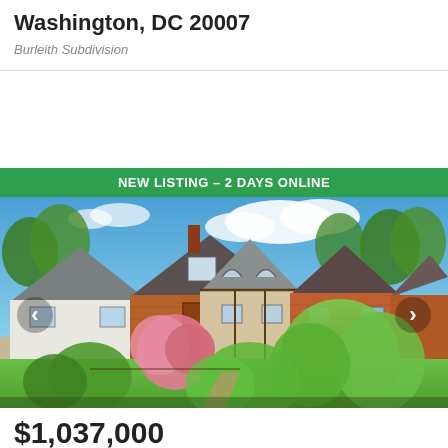Washington, DC 20007
Burleith Subdivision
NEW LISTING – 2 DAYS ONLINE
[Figure (photo): Exterior photo of brick Tudor-style rowhouses in a residential neighborhood in Washington DC, with lush green trees and flowering shrubs in the foreground, blue sky with clouds overhead. Navigation arrows on left and right. Bright MLS watermark in lower left corner.]
$1,037,000